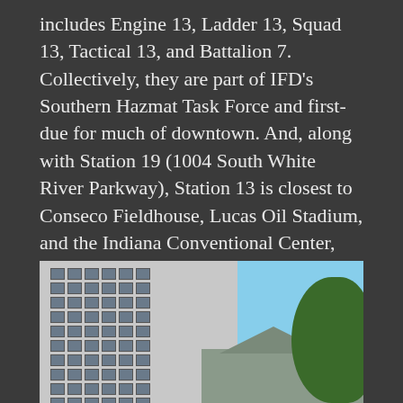includes Engine 13, Ladder 13, Squad 13, Tactical 13, and Battalion 7. Collectively, they are part of IFD's Southern Hazmat Task Force and first-due for much of downtown. And, along with Station 19 (1004 South White River Parkway), Station 13 is closest to Conseco Fieldhouse, Lucas Oil Stadium, and the Indiana Conventional Center, home of the annual Fire Department Instructor's Conference. including the Indiana Convention Center and Lucas Oil Stadium, home of the Fire Department Instructor's Conference (FDIC). So, if you've ever gone station hopping at FDIC, there's a good chance you've been there.
[Figure (photo): Exterior photo showing a multi-story light-colored office building with a grid of windows on the left, a building with a green/grey peaked roof structure in the center, a blue sky background, and green tree foliage visible on the right edge.]